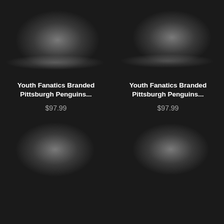[Figure (photo): Blurred product image of Youth Fanatics Branded Pittsburgh Penguins item on dark background]
Youth Fanatics Branded Pittsburgh Penguins...
$97.99
[Figure (photo): Blurred product image of Youth Fanatics Branded Pittsburgh Penguins item on dark background]
Youth Fanatics Branded Pittsburgh Penguins...
$97.99
[Figure (photo): Blurred product image on dark background (bottom left)]
[Figure (photo): Blurred product image on dark background (bottom right)]